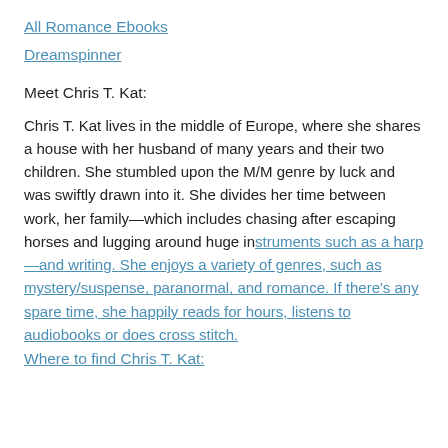All Romance Ebooks
Dreamspinner
Meet Chris T. Kat:
Chris T. Kat lives in the middle of Europe, where she shares a house with her husband of many years and their two children. She stumbled upon the M/M genre by luck and was swiftly drawn into it. She divides her time between work, her family—which includes chasing after escaping horses and lugging around huge instruments such as a harp—and writing. She enjoys a variety of genres, such as mystery/suspense, paranormal, and romance. If there's any spare time, she happily reads for hours, listens to audiobooks or does cross stitch.
Where to find Chris T. Kat: